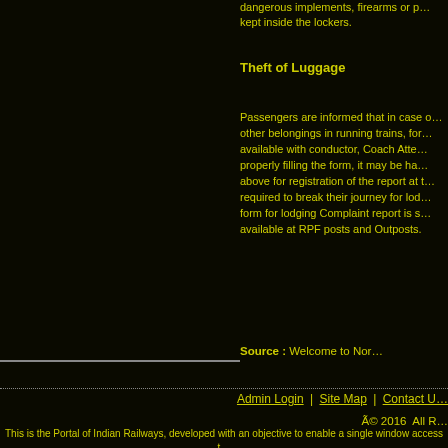dangerous implements, firearms or p… kept inside the lockers.
Theft of Luggage
Passengers are informed that in case of theft or loss of luggage or other belongings in running trains, form for lodging Complaint report is available with conductor, Coach Attendant and at RPF posts. After properly filling the form, it may be handed over to the official mentioned above for registration of the report at the destination. Passengers are not required to break their journey for lodging report. The prescribed form for lodging Complaint report is shown above and same is also available at RPF posts and Outposts.
Source : Welcome to Nor…
Admin Login | Site Map | Contact U…
Ã© 2016  All R…
This is the Portal of Indian Railways, developed with an objective to enable a single window access t… Portal is the result of a collaborative effort of various Indian Railways Entities an…